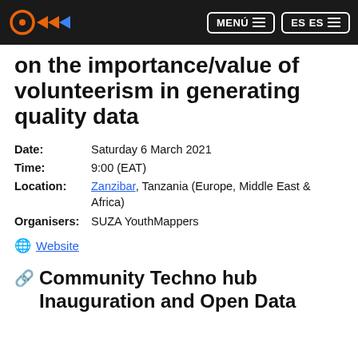MENÚ ES ES
on the importance/value of volunteerism in generating quality data
Date: Saturday 6 March 2021
Time: 9:00 (EAT)
Location: Zanzibar, Tanzania (Europe, Middle East & Africa)
Organisers: SUZA YouthMappers
Website
Community Techno hub Inauguration and Open Data